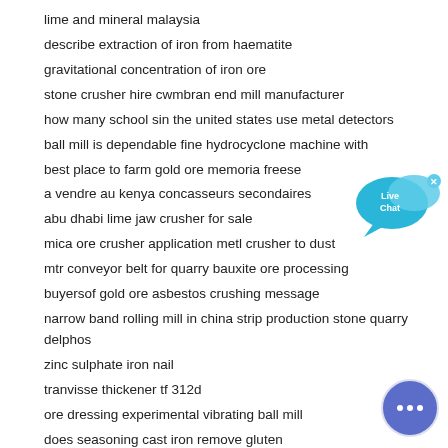lime and mineral malaysia
describe extraction of iron from haematite
gravitational concentration of iron ore
stone crusher hire cwmbran end mill manufacturer
how many school sin the united states use metal detectors
ball mill is dependable fine hydrocyclone machine with
best place to farm gold ore memoria freese
a vendre au kenya concasseurs secondaires
abu dhabi lime jaw crusher for sale
mica ore crusher application metl crusher to dust
mtr conveyor belt for quarry bauxite ore processing
buyersof gold ore asbestos crushing message
narrow band rolling mill in china strip production stone quarry delphos
zinc sulphate iron nail
tranvisse thickener tf 312d
ore dressing experimental vibrating ball mill
does seasoning cast iron remove gluten
gold series crush card virus
[Figure (illustration): Live Chat bubble widget with blue speech bubbles and 'Live Chat' text, and a blue circular chat button with ellipsis icon]